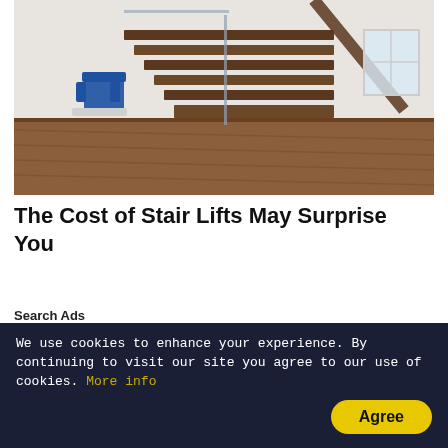[Figure (photo): Interior photo of a modern home with floating wooden stairs, glass railing, and a blue stair lift chair mounted on the left side of the staircase. Hardwood flooring and white walls visible.]
The Cost of Stair Lifts May Surprise You
Search Ads
[Figure (photo): Partially visible photo showing a person or object in the foreground with blurred background, partially obscured by a Leesburg business badge overlay showing OPEN and hours.]
We use cookies to enhance your experience. By continuing to visit our site you agree to our use of cookies. More info
Agree